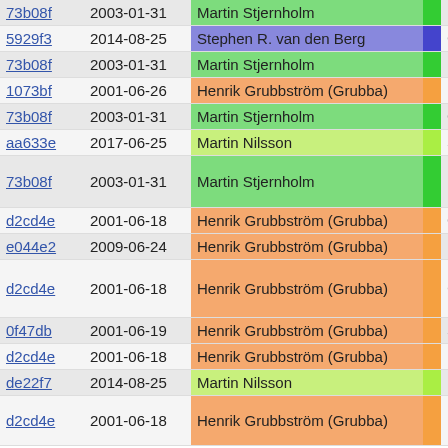| Hash | Date | Author |  | Code |
| --- | --- | --- | --- | --- |
| 73b08f | 2003-01-31 | Martin Stjernholm | green | r |
| 5929f3 | 2014-08-25 | Stephen R. van den Berg | purple | else |
| 73b08f | 2003-01-31 | Martin Stjernholm | green | pu |
| 1073bf | 2001-06-26 | Henrik Grubbström (Grubba) | orange | brea |
| 73b08f | 2003-01-31 | Martin Stjernholm | green | case 1 |
| aa633e | 2017-06-25 | Martin Nilsson | lime | if ( |
| 73b08f | 2003-01-31 | Martin Stjernholm | green | push
brea |
| d2cd4e | 2001-06-18 | Henrik Grubbström (Grubba) | orange | case 2 |
| e044e2 | 2009-06-24 | Henrik Grubbström (Grubba) | orange | push |
| d2cd4e | 2001-06-18 | Henrik Grubbström (Grubba) | orange | brea
defau
{ |
| 0f47db | 2001-06-19 | Henrik Grubbström (Grubba) | orange | it |
| d2cd4e | 2001-06-18 | Henrik Grubbström (Grubba) | orange | } |
| de22f7 | 2014-08-25 | Martin Nilsson | lime | ba |
| d2cd4e | 2001-06-18 | Henrik Grubbström (Grubba) | orange |  |